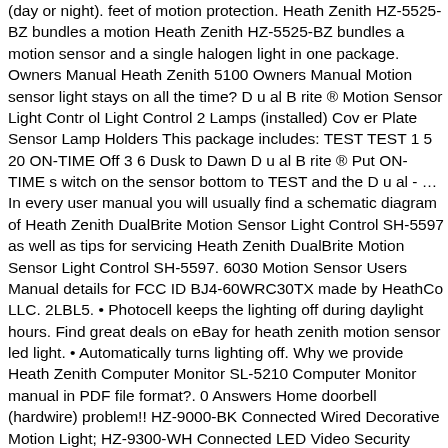(day or night). feet of motion protection. Heath Zenith HZ-5525-BZ bundles a motion Heath Zenith HZ-5525-BZ bundles a motion sensor and a single halogen light in one package. Owners Manual Heath Zenith 5100 Owners Manual Motion sensor light stays on all the time? D u al B rite ® Motion Sensor Light Contr ol Light Control 2 Lamps (installed) Cov er Plate Sensor Lamp Holders This package includes: TEST TEST 1 5 20 ON-TIME Off 3 6 Dusk to Dawn D u al B rite ® Put ON-TIME s witch on the sensor bottom to TEST and the D u al - … In every user manual you will usually find a schematic diagram of Heath Zenith DualBrite Motion Sensor Light Control SH-5597 as well as tips for servicing Heath Zenith DualBrite Motion Sensor Light Control SH-5597. 6030 Motion Sensor Users Manual details for FCC ID BJ4-60WRC30TX made by HeathCo LLC. 2LBL5. • Photocell keeps the lighting off during daylight hours. Find great deals on eBay for heath zenith motion sensor led light. • Automatically turns lighting off. Why we provide Heath Zenith Computer Monitor SL-5210 Computer Monitor manual in PDF file format?. 0 Answers Home doorbell (hardwire) problem!! HZ-9000-BK Connected Wired Decorative Motion Light; HZ-9300-WH Connected LED Video Security Motion Light; HZ-9309-WH Connected LED Video Security Motion Light; HZ-9301-WH Connected LED Wired Security Motion Light ; HZ-9302-WH Connected LED Wired Security